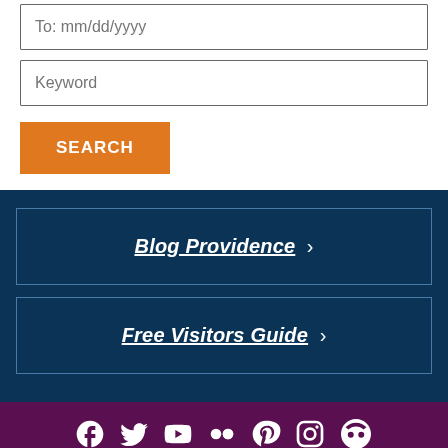To: mm/dd/yyyy
Keyword
SEARCH
Blog Providence >
Free Visitors Guide >
[Figure (other): Social media icons row: Facebook, Twitter, YouTube, Flickr, Pinterest, Instagram, TripAdvisor]